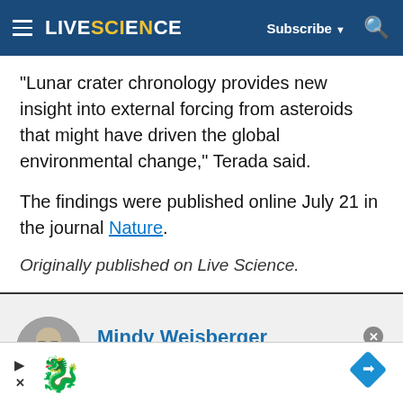LIVESCIENCE | Subscribe | Search
"Lunar crater chronology provides new insight into external forcing from asteroids that might have driven the global environmental change," Terada said.
The findings were published online July 21 in the journal Nature.
Originally published on Live Science.
Mindy Weisberger
Senior Writer